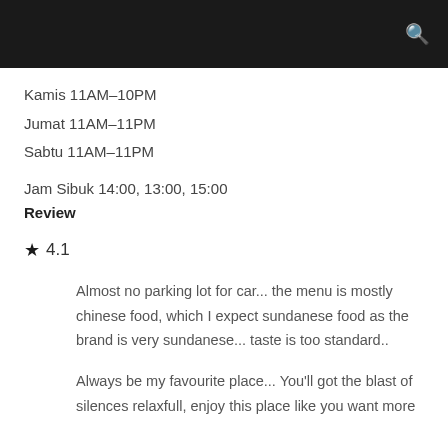Kamis 11AM–10PM
Jumat 11AM–11PM
Sabtu 11AM–11PM
Jam Sibuk 14:00, 13:00, 15:00
Review
★ 4.1
Almost no parking lot for car... the menu is mostly chinese food, which I expect sundanese food as the brand is very sundanese... taste is too standard..
Always be my favourite place... You'll got the blast of silences relaxfull, enjoy this place like you want more